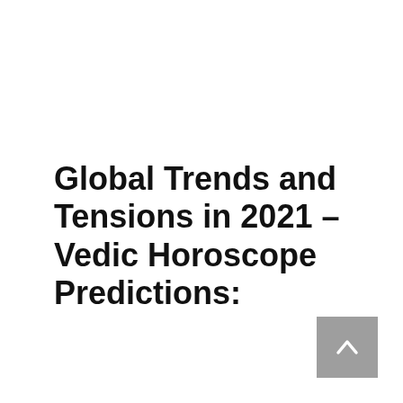Global Trends and Tensions in 2021 – Vedic Horoscope Predictions: